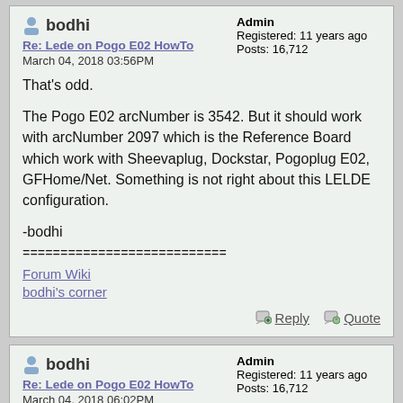bodhi | Re: Lede on Pogo E02 HowTo | March 04, 2018 03:56PM | Admin | Registered: 11 years ago | Posts: 16,712
That's odd.

The Pogo E02 arcNumber is 3542. But it should work with arcNumber 2097 which is the Reference Board which work with Sheevaplug, Dockstar, Pogoplug E02, GFHome/Net. Something is not right about this LELDE configuration.

-bodhi
===========================
Forum Wiki
bodhi's corner
Reply  Quote
bodhi | Re: Lede on Pogo E02 HowTo | March 04, 2018 06:02PM | Admin | Registered: 11 years ago | Posts: 16,712